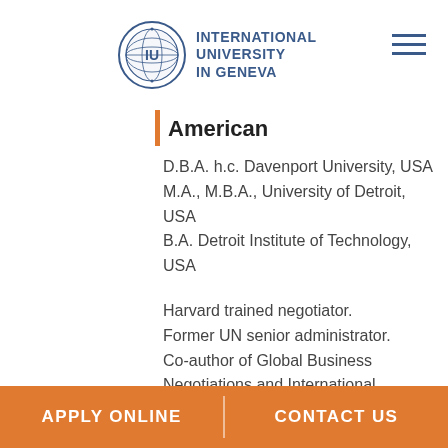[Figure (logo): International University in Geneva logo — circular globe emblem with IU letters and surrounding text, paired with text INTERNATIONAL UNIVERSITY IN GENEVA in dark blue]
American
D.B.A. h.c. Davenport University, USA
M.A., M.B.A., University of Detroit, USA
B.A. Detroit Institute of Technology, USA
Harvard trained negotiator. Former UN senior administrator. Co-author of Global Business Negotiations and International Trade Promotion.
APPLY ONLINE   CONTACT US